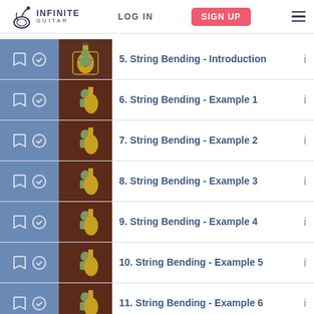INFINITE GUITAR — LOG IN | SIGN UP
5. String Bending - Introduction
6. String Bending - Example 1
7. String Bending - Example 2
8. String Bending - Example 3
9. String Bending - Example 4
10. String Bending - Example 5
11. String Bending - Example 6